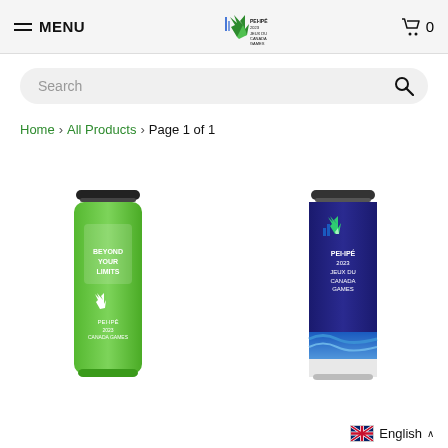MENU | [Canada Games logo] | Cart 0
Search
Home > All Products > Page 1 of 1
[Figure (photo): Green tumbler travel mug with PEI 2023 Canada Games logo and white text/graphics]
[Figure (photo): Blue and white tumbler travel mug with PEI 2023 Canada Games logo and blue wave design]
English